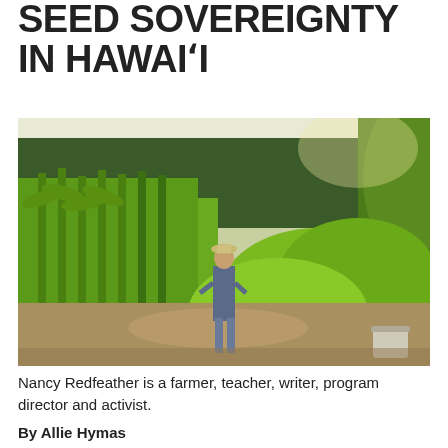SEED SOVEREIGNTY IN HAWAI'I
[Figure (photo): A person standing in a lush farm garden with tall corn, large-leafed plants, and trees in the background, taken in a warm outdoor setting.]
Nancy Redfeather is a farmer, teacher, writer, program director and activist.
By Allie Hymas